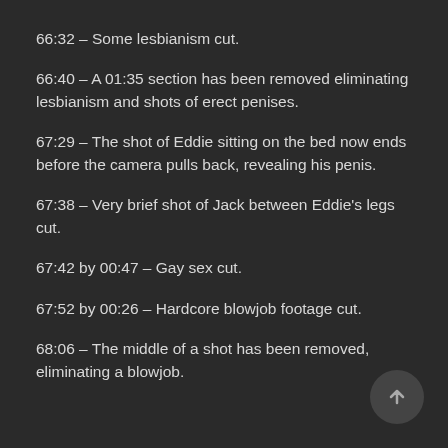66:32 – Some lesbianism cut.
66:40 – A 01:35 section has been removed eliminating lesbianism and shots of erect penises.
67:29 – The shot of Eddie sitting on the bed now ends before the camera pulls back, revealing his penis.
67:38 – Very brief shot of Jack between Eddie's legs cut.
67:42 by 00:47 – Gay sex cut.
67:52 by 00:26 – Hardcore blowjob footage cut.
68:06 – The middle of a shot has been removed, eliminating a blowjob.